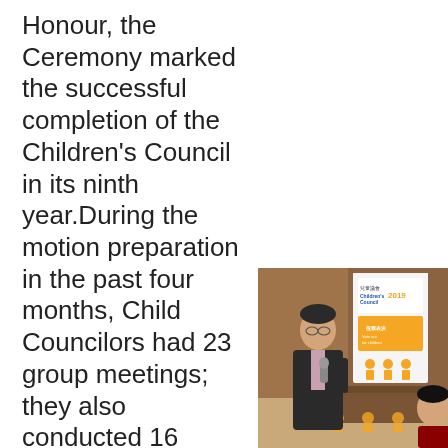Honour, the Ceremony marked the successful completion of the Children's Council in its ninth year.During the motion preparation in the past four months, Child Councilors had 23 group meetings; they also conducted 16 interviews
[Figure (photo): A man in a dark suit holding a microphone speaking at an event, with a Children's Council banner visible in the background and a woman partially visible on the right.]